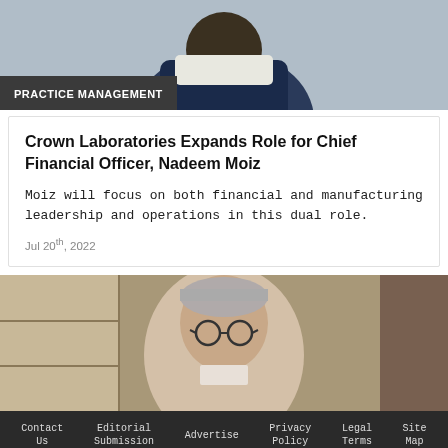[Figure (photo): Photo of a person in a dark blue jacket, cropped to show upper body, partially visible against a beige/gray background]
PRACTICE MANAGEMENT
Crown Laboratories Expands Role for Chief Financial Officer, Nadeem Moiz
Moiz will focus on both financial and manufacturing leadership and operations in this dual role.
Jul 20th, 2022
[Figure (photo): Photo of a middle-aged Asian man with gray hair and round glasses, standing in front of a stone wall]
Contact Us   Editorial Submission   Advertise   Privacy Policy   Legal Terms   Site Map